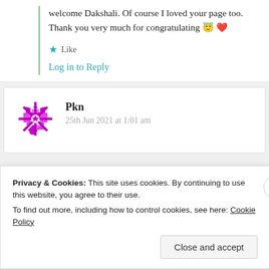welcome Dakshali. Of course I loved your page too. Thank you very much for congratulating 😇 ❤️
★ Like
Log in to Reply
Pkn
25th Jun 2021 at 1:01 am
Privacy & Cookies: This site uses cookies. By continuing to use this website, you agree to their use. To find out more, including how to control cookies, see here: Cookie Policy
Close and accept